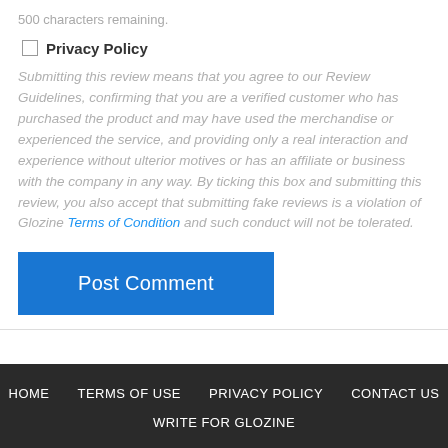500 characters remaining.
Privacy Policy
Submitting this review means that you agree to our Review Guidelines, confirming that you are a verified customer who has purchased the product and may have used the merchandise or experienced the service, and providing only a real interaction and experience without ulterior motives or has an affiliate or business with the company in any way. By ticking this box and submitting this review, you also accept that submitting fake reviews is a violation of Glozine Terms of Condition and such conduct will not be tolerated.
Post Comment
HOME   TERMS OF USE   PRIVACY POLICY   CONTACT US   WRITE FOR GLOZINE